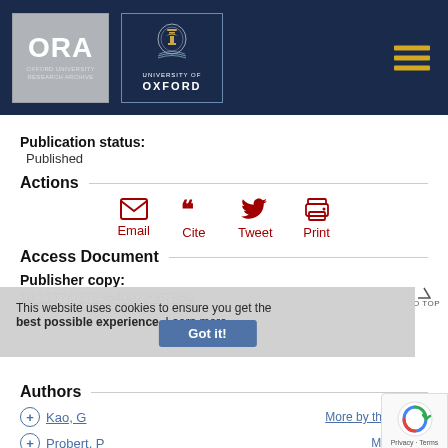[Figure (logo): ORA Oxford University Research Archive and University of Oxford logos on dark navy header with hamburger menu icon]
Publication status:
Published
Actions
[Figure (infographic): Action icons: Email, Cite, Tweet, Print in dark red]
Access Document
Publisher copy:
10.1177/02783640022067850
This website uses cookies to ensure you get the best possible experience. Learn more
Authors
Kao, G  More by this author
Probert, P  More by th